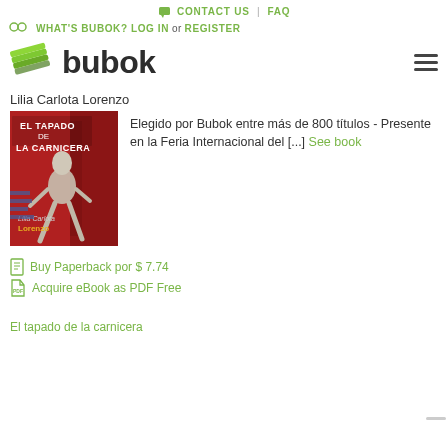CONTACT US | FAQ
WHAT'S BUBOK? LOG IN or REGISTER
[Figure (logo): Bubok logo with green stacked pages icon and bold 'bubok' text]
Lilia Carlota Lorenzo
[Figure (photo): Book cover of 'El Tapado de la Carnicera' by Lilia Carlota Lorenzo — red background with stylized figure]
Elegido por Bubok entre más de 800 títulos - Presente en la Feria Internacional del [...] See book
Buy Paperback por $ 7.74
Acquire eBook as PDF Free
El tapado de la carnicera